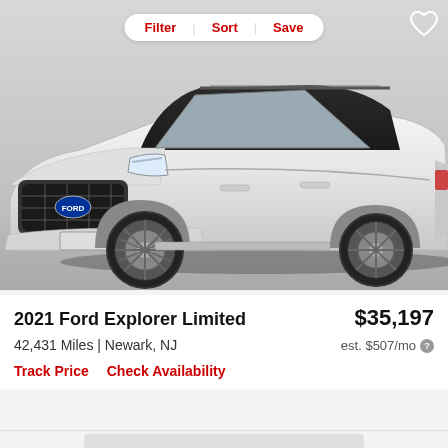[Figure (screenshot): Filter/Sort/Save navigation bar with rounded white pill shape on gray background, with a heart/save icon in the top right corner]
[Figure (photo): 2021 Ford Explorer Limited SUV in white/silver color, front three-quarter view on a gray gradient background]
2021 Ford Explorer Limited
$35,197
42,431 Miles | Newark, NJ
est. $507/mo
Track Price   Check Availability